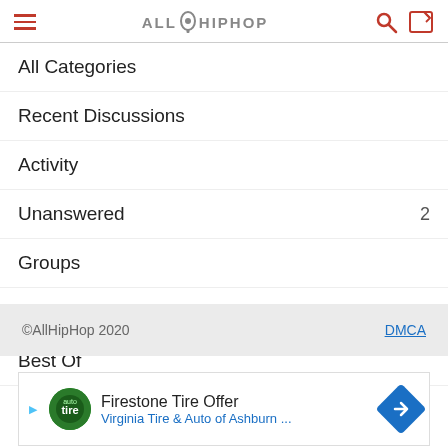AllHipHop
All Categories
Recent Discussions
Activity
Unanswered  2
Groups
Unanswered  2
Best Of
©AllHipHop 2020   DMCA
[Figure (other): Advertisement banner: Firestone Tire Offer - Virginia Tire & Auto of Ashburn ...]